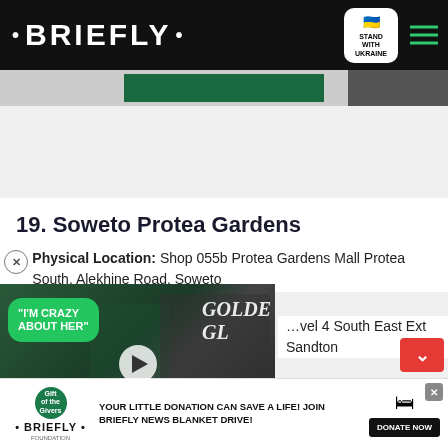• BRIEFLY •
[Figure (screenshot): Partially visible banner image with green tones]
19. Soweto Protea Gardens
Physical Location: Shop 055b Protea Gardens Mall Protea South, Alekhine Road, Soweto
[Figure (screenshot): Video overlay showing a couple at the Golden Globes, speech bubble saying I'M CRAZY ABOUT HER, with play button]
...vel 4 South East Ext Sandton
[Figure (infographic): Bottom advertisement banner: YOUR LITTLE DONATION CAN SAVE A LIFE! JOIN BRIEFLY NEWS BLANKET DRIVE! DONATE NOW]